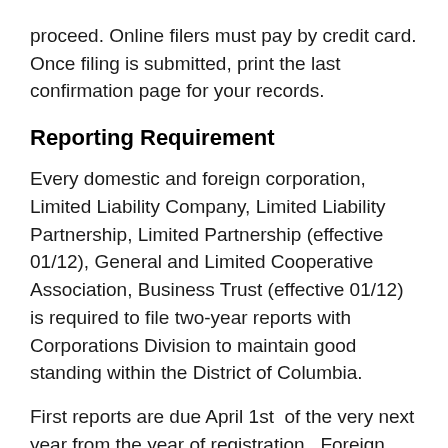proceed. Online filers must pay by credit card. Once filing is submitted, print the last confirmation page for your records.
Reporting Requirement
Every domestic and foreign corporation, Limited Liability Company, Limited Liability Partnership, Limited Partnership (effective 01/12), General and Limited Cooperative Association, Business Trust (effective 01/12) is required to file two-year reports with Corporations Division to maintain good standing within the District of Columbia.
First reports are due April 1st  of the very next year from the year of registration.  Foreign